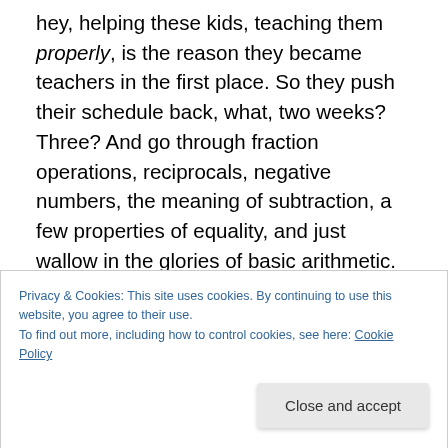hey, helping these kids, teaching them properly, is the reason they became teachers in the first place. So they push their schedule back, what, two weeks? Three? And go through fraction operations, reciprocals, negative numbers, the meaning of subtraction, a few properties of equality, and just wallow in the glories of basic arithmetic. Some use manipulatives, others use drills and games to increase engagement, but whatever the method, they're basking in the glow of knowledge that they are Closing the Gap, that their kids are finally getting the attention that privileged suburban students get by virtue of their summer
Privacy & Cookies: This site uses cookies. By continuing to use this website, you agree to their use.
To find out more, including how to control cookies, see here: Cookie Policy